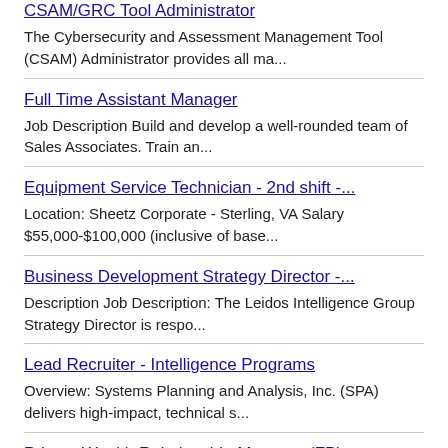CSAM/GRC Tool Administrator
The Cybersecurity and Assessment Management Tool (CSAM) Administrator provides all ma...
Full Time Assistant Manager
Job Description Build and develop a well-rounded team of Sales Associates. Train an...
Equipment Service Technician - 2nd shift -...
Location: Sheetz Corporate - Sterling, VA Salary $55,000-$100,000 (inclusive of base...
Business Development Strategy Director -...
Description Job Description: The Leidos Intelligence Group Strategy Director is respo...
Lead Recruiter - Intelligence Programs
Overview: Systems Planning and Analysis, Inc. (SPA) delivers high-impact, technical s...
Private Wealth Relationship Manager (FP)
Job Description: Business Overview Merrill Lynch Wealth